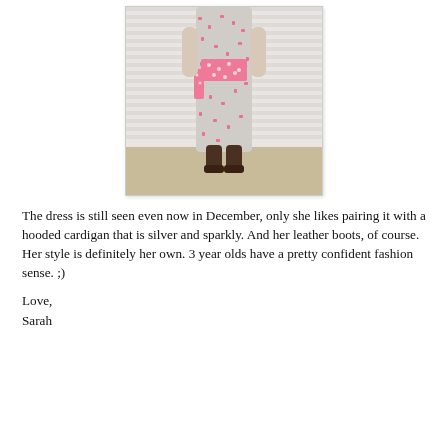[Figure (photo): A young girl (approximately 3 years old) standing against a white brick wall, wearing a floral/patterned dress with a pink polka-dot sash/wrap around the waist, and dark brown leather boots. The floor appears to be concrete or stone.]
The dress is still seen even now in December, only she likes pairing it with a hooded cardigan that is silver and sparkly. And her leather boots, of course. Her style is definitely her own. 3 year olds have a pretty confident fashion sense. ;)
Love,
Sarah